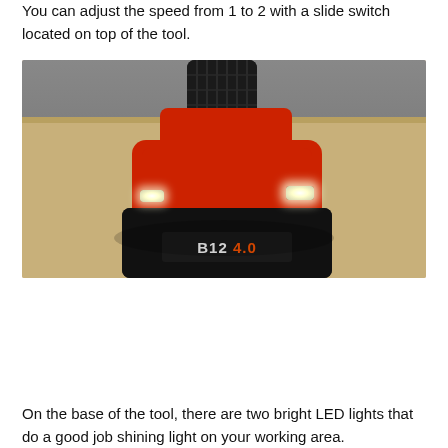You can adjust the speed from 1 to 2 with a slide switch located on top of the tool.
[Figure (photo): Close-up photo of a red and black cordless drill/screwdriver resting on a wooden surface. The base shows a battery labeled 'B12 4.0' and two bright white LED lights are visible on either side of the tool's body.]
On the base of the tool, there are two bright LED lights that do a good job shining light on your working area.